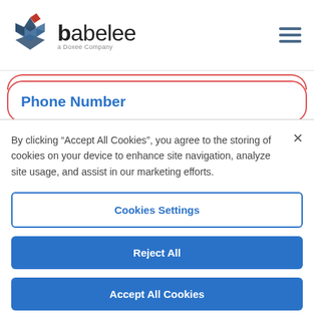[Figure (logo): Babelee logo — stylized layered diamond shapes in red/dark blue, text 'babelee' with 'a Doxee Company' subtitle, hamburger menu icon top right]
Phone Number
By clicking “Accept All Cookies”, you agree to the storing of cookies on your device to enhance site navigation, analyze site usage, and assist in our marketing efforts.
Cookies Settings
Reject All
Accept All Cookies